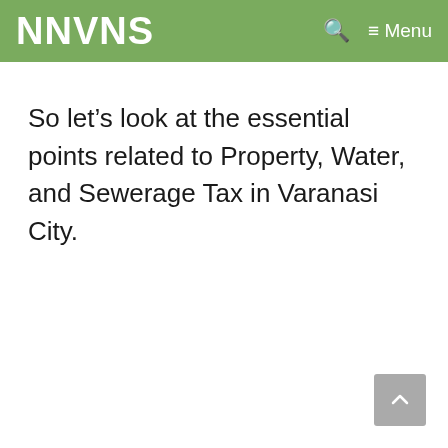NNVNS
So let’s look at the essential points related to Property, Water, and Sewerage Tax in Varanasi City.